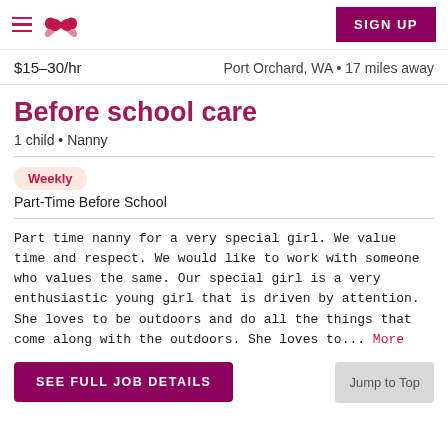Care.com app header with hamburger menu, logo, and SIGN UP button
$15–30/hr   Port Orchard, WA • 17 miles away
Before school care
1 child • Nanny
Weekly
Part-Time Before School
Part time nanny for a very special girl. We value time and respect. We would like to work with someone who values the same. Our special girl is a very enthusiastic young girl that is driven by attention. She loves to be outdoors and do all the things that come along with the outdoors. She loves to... More
SEE FULL JOB DETAILS
Jump to Top